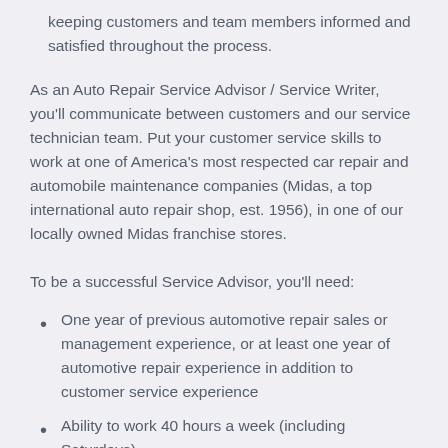5. Ability to juggle several projects at a fast pace, keeping customers and team members informed and satisfied throughout the process.
As an Auto Repair Service Advisor / Service Writer, you'll communicate between customers and our service technician team. Put your customer service skills to work at one of America's most respected car repair and automobile maintenance companies (Midas, a top international auto repair shop, est. 1956), in one of our locally owned Midas franchise stores.
To be a successful Service Advisor, you'll need:
One year of previous automotive repair sales or management experience, or at least one year of automotive repair experience in addition to customer service experience
Ability to work 40 hours a week (including Saturdays)